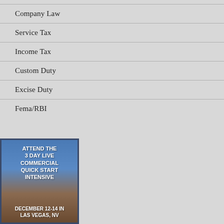Company Law
Service Tax
Income Tax
Custom Duty
Excise Duty
Fema/RBI
[Figure (advertisement): Advertisement for Attend the 3 Day Live Commercial Quick Start Intensive, December 12-14 in Las Vegas, NV]